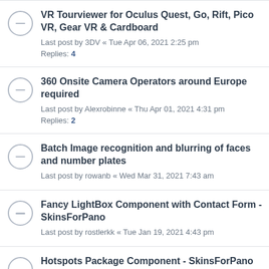VR Tourviewer for Oculus Quest, Go, Rift, Pico VR, Gear VR & Cardboard
Last post by 3DV « Tue Apr 06, 2021 2:25 pm
Replies: 4
360 Onsite Camera Operators around Europe required
Last post by Alexrobinne « Thu Apr 01, 2021 4:31 pm
Replies: 2
Batch Image recognition and blurring of faces and number plates
Last post by rowanb « Wed Mar 31, 2021 7:43 am
Fancy LightBox Component with Contact Form - SkinsForPano
Last post by rostlerkk « Tue Jan 19, 2021 4:43 pm
Hotspots Package Component - SkinsForPano